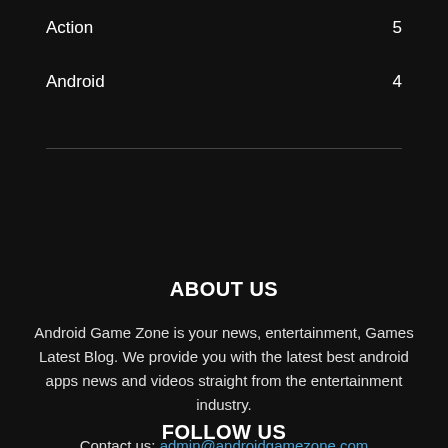Action  5
Android  4
ABOUT US
Android Game Zone is your news, entertainment, Games Latest Blog. We provide you with the latest best android apps news and videos straight from the entertainment industry.
Contact us: admin@androidgamezone.com
FOLLOW US